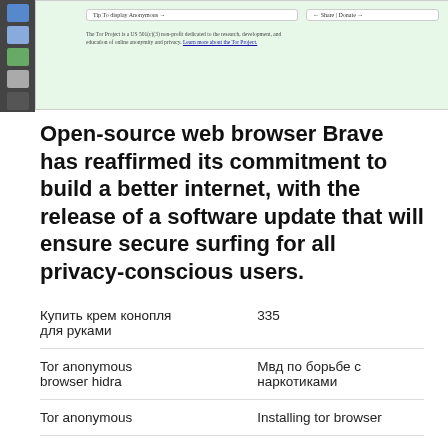[Figure (screenshot): Screenshot of a Tor browser or privacy browser interface with green background, sidebar icons, URL bar, and small text about Tor Project]
Open-source web browser Brave has reaffirmed its commitment to build a better internet, with the release of a software update that will ensure secure surfing for all privacy-conscious users.
| Купить крем конопля для руками | 335 |
| Tor anonymous browser hidra | Мвд по борьбе с наркотиками |
| Tor anonymous | Installing tor browser |